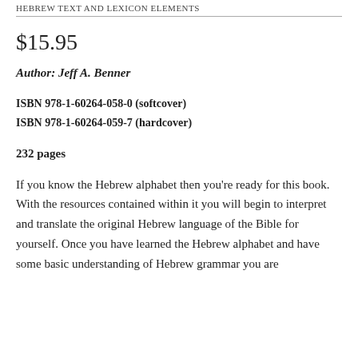HEBREW TEXT AND LEXICON ELEMENTS
$15.95
Author: Jeff A. Benner
ISBN 978-1-60264-058-0 (softcover)
ISBN 978-1-60264-059-7 (hardcover)
232 pages
If you know the Hebrew alphabet then you're ready for this book. With the resources contained within it you will begin to interpret and translate the original Hebrew language of the Bible for yourself. Once you have learned the Hebrew alphabet and have some basic understanding of Hebrew grammar you are